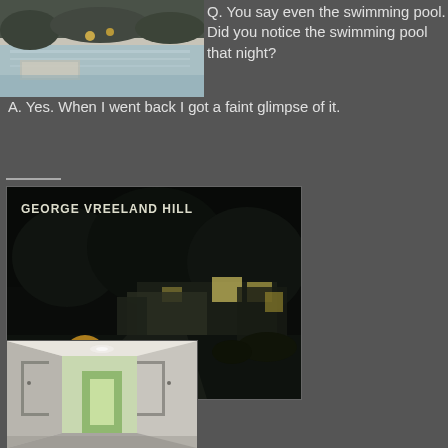[Figure (photo): Photograph of a swimming pool area with water feature, plants visible in background]
Q. You say even the swimming pool. Did you notice the swimming pool that night?
A. Yes. When I went back I got a faint glimpse of it.
[Figure (photo): Dark nighttime photograph of a house exterior with trees, labeled GEORGE VREELAND HILL in white text at top left]
[Figure (photo): Photograph of a hallway interior with white walls, doors, and light visible at the end]